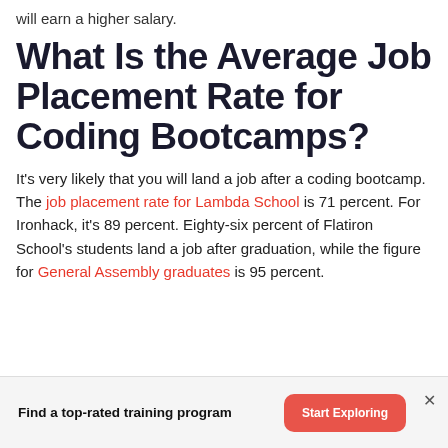will earn a higher salary.
What Is the Average Job Placement Rate for Coding Bootcamps?
It's very likely that you will land a job after a coding bootcamp. The job placement rate for Lambda School is 71 percent. For Ironhack, it's 89 percent. Eighty-six percent of Flatiron School's students land a job after graduation, while the figure for General Assembly graduates is 95 percent.
Find a top-rated training program
Start Exploring